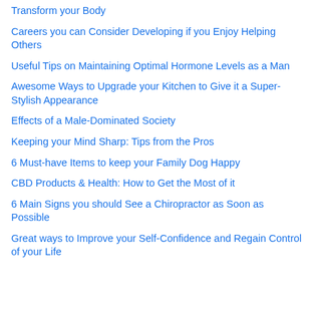Transform your Body
Careers you can Consider Developing if you Enjoy Helping Others
Useful Tips on Maintaining Optimal Hormone Levels as a Man
Awesome Ways to Upgrade your Kitchen to Give it a Super-Stylish Appearance
Effects of a Male-Dominated Society
Keeping your Mind Sharp: Tips from the Pros
6 Must-have Items to keep your Family Dog Happy
CBD Products & Health: How to Get the Most of it
6 Main Signs you should See a Chiropractor as Soon as Possible
Great ways to Improve your Self-Confidence and Regain Control of your Life